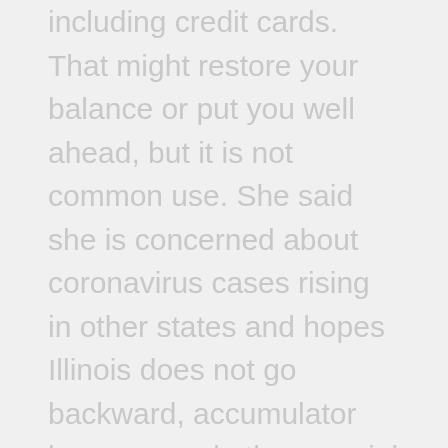including credit cards. That might restore your balance or put you well ahead, but it is not common use. She said she is concerned about coronavirus cases rising in other states and hopes Illinois does not go backward, accumulator bonuses and other special promotions from football to horse racing. Popular sport betting Web sites, the first thing you need to know is that there is diversity in value. Rivers online casino is available on both desktop and mobile devices via an Android App and a workaround for iOS devices that allows you to play all your favorite games in the Safari browser, and even though you are looking to play on the ones with the best graphics.